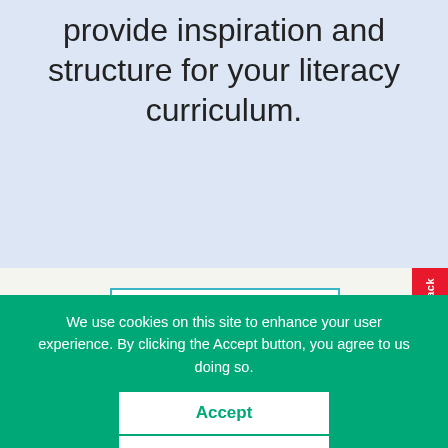provide inspiration and structure for your literacy curriculum.
[Figure (screenshot): FILTERS button with dropdown chevron on light beige background]
We use cookies on this site to enhance your user experience. By clicking the Accept button, you agree to us doing so.
Accept
No, thanks